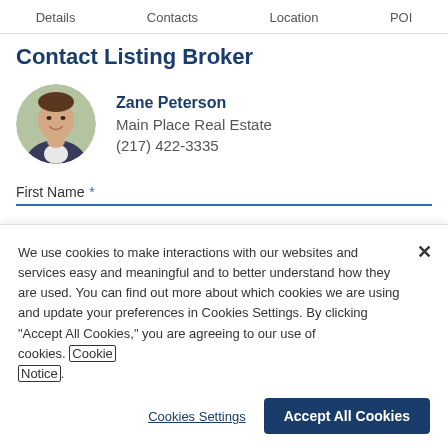Details  Contacts  Location  POI
Contact Listing Broker
[Figure (photo): Circular profile photo of Zane Peterson, a young man in a suit smiling]
Zane Peterson
Main Place Real Estate
(217) 422-3335
First Name *
We use cookies to make interactions with our websites and services easy and meaningful and to better understand how they are used. You can find out more about which cookies we are using and update your preferences in Cookies Settings. By clicking “Accept All Cookies,” you are agreeing to our use of cookies. Cookie Notice.
Cookies Settings
Accept All Cookies